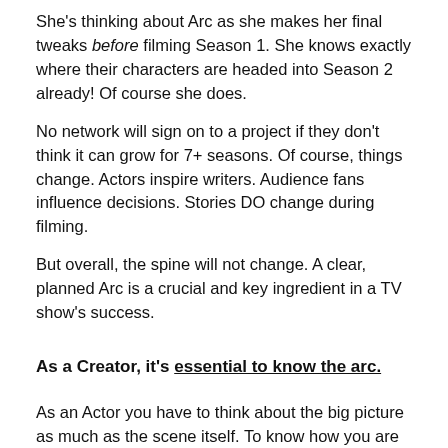She's thinking about Arc as she makes her final tweaks before filming Season 1. She knows exactly where their characters are headed into Season 2 already! Of course she does.
No network will sign on to a project if they don't think it can grow for 7+ seasons. Of course, things change. Actors inspire writers. Audience fans influence decisions. Stories DO change during filming.
But overall, the spine will not change. A clear, planned Arc is a crucial and key ingredient in a TV show's success.
As a Creator, it's essential to know the arc.
As an Actor you have to think about the big picture as much as the scene itself. To know how you are contributing to the WHOLE of the story. It's really useful to